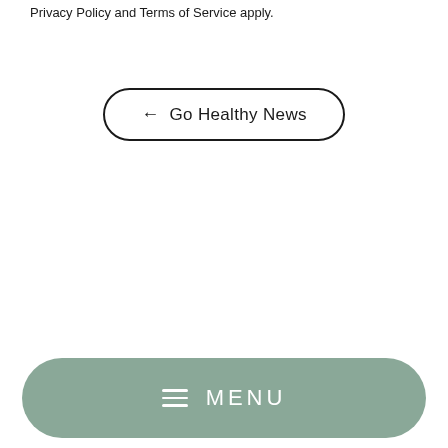Privacy Policy and Terms of Service apply.
[Figure (other): Rounded rectangle button with left arrow and text '← Go Healthy News']
[Figure (other): Green rounded rectangle menu bar with hamburger icon and 'MENU' text in white]